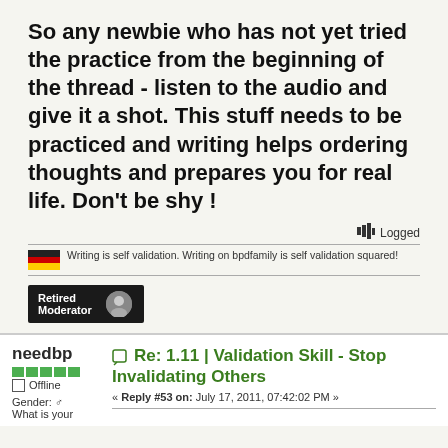So any newbie who has not yet tried the practice from the beginning of the thread - listen to the audio and give it a shot. This stuff needs to be practiced and writing helps ordering thoughts and prepares you for real life. Don't be shy !
Logged
Writing is self validation. Writing on bpdfamily is self validation squared!
[Figure (other): Retired Moderator badge with avatar icon]
needbp
Offline
Gender: ♂ What is your
Re: 1.11 | Validation Skill - Stop Invalidating Others
« Reply #53 on: July 17, 2011, 07:42:02 PM »